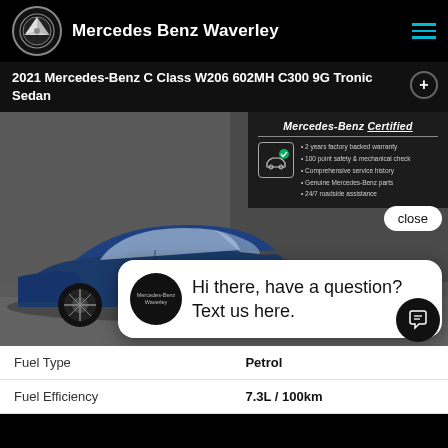Mercedes Benz Waverley
2021 Mercedes-Benz C Class W206 602MH C300 9G Tronic Sedan
[Figure (photo): Blue 2021 Mercedes-Benz C Class sedan in showroom with Mercedes-Benz Certified overlay panel showing: 2 years factory backed warranty, 100 point safety & mechanical check, Comprehensive service history, Genuine Mercedes-Benz parts, 24/7 roadside assistance. A chat popup reads: Hi there, have a question? Text us here.]
| Fuel Type | Petrol |
| --- | --- |
| Fuel Efficiency | 7.3L / 100km |